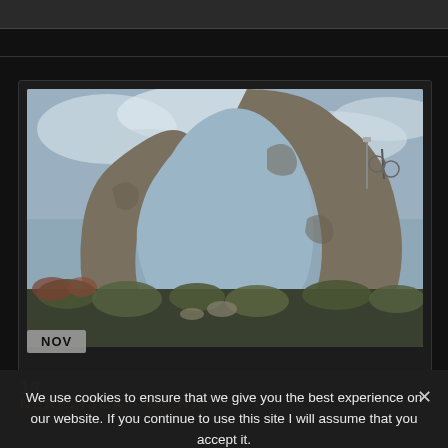[Figure (photo): A screenshot of a travel/cycling website showing a large natural rock arch formation in a rocky Mediterranean landscape, with grey sky and vegetation at the base. A 'NOV' badge is overlaid at the bottom-left of the photo. The page has a dark background.]
18
NEREŽIŠĆA – MILNA
We use cookies to ensure that we give you the best experience on our website. If you continue to use this site I will assume that you accept it.
Ok